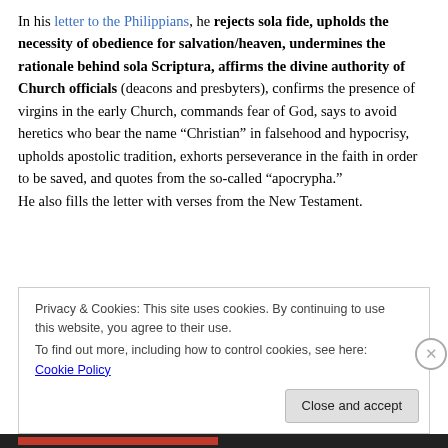In his letter to the Philippians, he rejects sola fide, upholds the necessity of obedience for salvation/heaven, undermines the rationale behind sola Scriptura, affirms the divine authority of Church officials (deacons and presbyters), confirms the presence of virgins in the early Church, commands fear of God, says to avoid heretics who bear the name “Christian” in falsehood and hypocrisy, upholds apostolic tradition, exhorts perseverance in the faith in order to be saved, and quotes from the so-called “apocrypha.” He also fills the letter with verses from the New Testament.
Privacy & Cookies: This site uses cookies. By continuing to use this website, you agree to their use. To find out more, including how to control cookies, see here: Cookie Policy